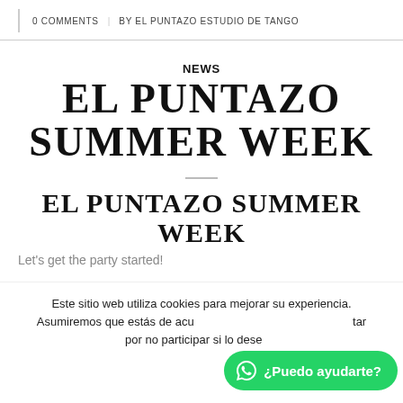0 COMMENTS   BY EL PUNTAZO ESTUDIO DE TANGO
NEWS
EL PUNTAZO SUMMER WEEK
EL PUNTAZO SUMMER WEEK
Let's get the party started!
Este sitio web utiliza cookies para mejorar su experiencia. Asumiremos que estás de acuerdo con esto, pero puedes optar por no participar si lo deseas.